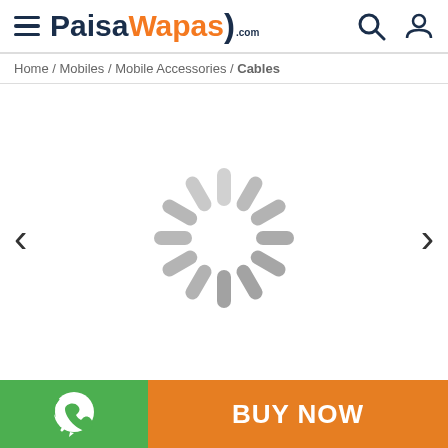PaisaWapas.com
Home / Mobiles / Mobile Accessories / Cables
[Figure (screenshot): Product image carousel with loading spinner, left and right navigation arrows, white background. Loading spinner shown in center.]
[Figure (other): Bottom bar with WhatsApp icon on green background (left) and BUY NOW button on orange background (right)]